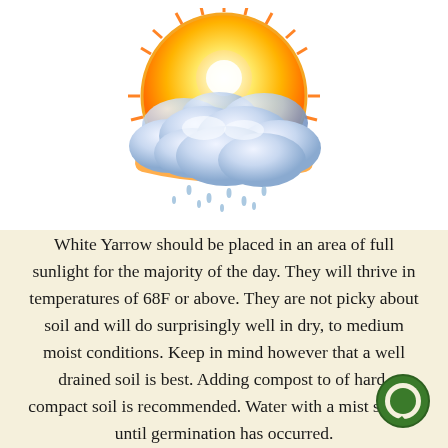[Figure (illustration): Weather icon showing a bright sun with orange and yellow rays behind fluffy blue-white clouds, with rain drops falling below]
White Yarrow should be placed in an area of full sunlight for the majority of the day. They will thrive in temperatures of 68F or above. They are not picky about soil and will do surprisingly well in dry, to medium moist conditions. Keep in mind however that a well drained soil is best. Adding compost to of hard, compact soil is recommended. Water with a mist setting until germination has occurred.